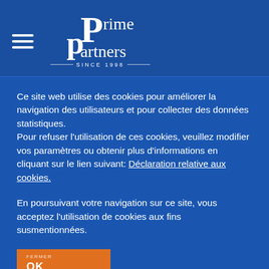[Figure (logo): Prime Partners logo with hamburger menu icon. Two overlapping P letters in large serif font, with 'rime' and 'artners' completing 'Prime Partners', and 'SINCE 1998' below with horizontal lines.]
Ce site web utilise des cookies pour améliorer la navigation des utilisateurs et pour collecter des données statistiques.
Pour refuser l'utilisation de ces cookies, veuillez modifier vos paramètres ou obtenir plus d'informations en cliquant sur le lien suivant: Déclaration relative aux cookies.
En poursuivant votre navigation sur ce site, vous acceptez l'utilisation de cookies aux fins susmentionnées.
OK